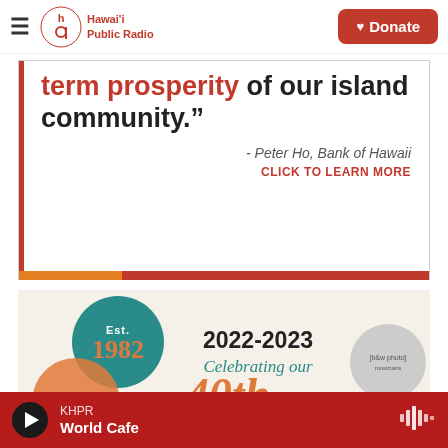Hawai'i Public Radio — Donate
term prosperity of our island community."
- Peter Ho, Bank of Hawaii
CLICK TO LEARN MORE
[Figure (infographic): Anniversary banner: Est. 1982 teal circle, 2022-2023 Celebrating our 40th Season text, vintage group photo circles]
KHPR — World Cafe